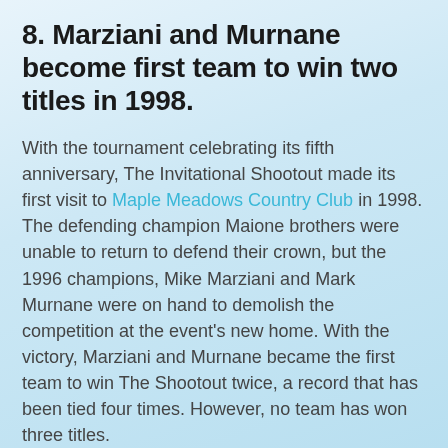8. Marziani and Murnane become first team to win two titles in 1998.
With the tournament celebrating its fifth anniversary, The Invitational Shootout made its first visit to Maple Meadows Country Club in 1998. The defending champion Maione brothers were unable to return to defend their crown, but the 1996 champions, Mike Marziani and Mark Murnane were on hand to demolish the competition at the event's new home. With the victory, Marziani and Murnane became the first team to win The Shootout twice, a record that has been tied four times. However, no team has won three titles.
7. Armstrong's defeat